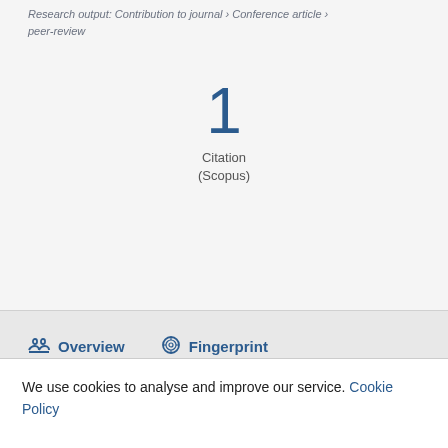Research output: Contribution to journal › Conference article › peer-review
1
Citation
(Scopus)
Overview   Fingerprint
We use cookies to analyse and improve our service. Cookie Policy